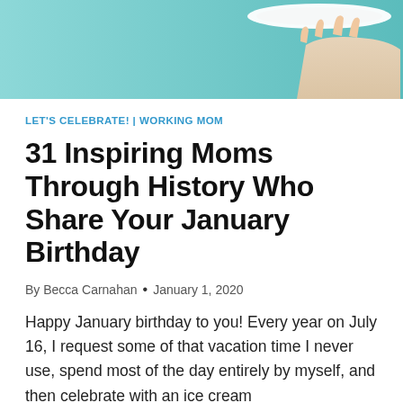[Figure (photo): Partial photo showing hands holding a white plate/dish against a teal/blue-green background]
LET'S CELEBRATE! | WORKING MOM
31 Inspiring Moms Through History Who Share Your January Birthday
By Becca Carnahan • January 1, 2020
Happy January birthday to you! Every year on July 16, I request some of that vacation time I never use, spend most of the day entirely by myself, and then celebrate with an ice cream